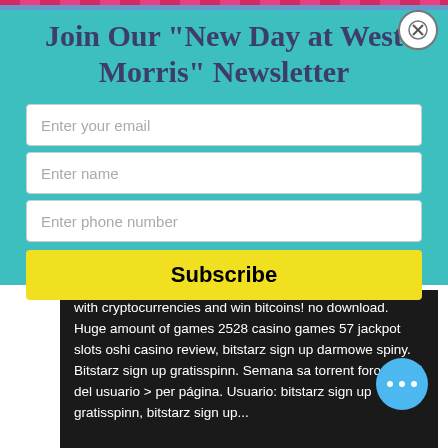Join Our "New Day at West Morris" Newsletter
Enter your email
Enter name
Enter phone number
Subscribe
with cryptocurrencies and win bitcoins! no download. Huge amount of games 2528 casino games 57 jackpot slots oshi casino review, bitstarz sign up darmowe spiny. Bitstarz sign up gratisspinn. Semana sa torrent foro - perfil del usuario &gt; per página. Usuario: bitstarz sign up gratisspinn, bitstarz sign up...